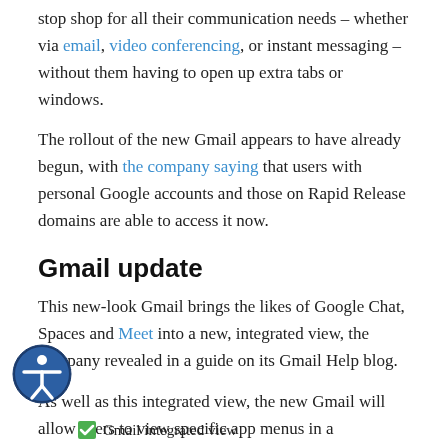stop shop for all their communication needs – whether via email, video conferencing, or instant messaging – without them having to open up extra tabs or windows.
The rollout of the new Gmail appears to have already begun, with the company saying that users with personal Google accounts and those on Rapid Release domains are able to access it now.
Gmail update
This new-look Gmail brings the likes of Google Chat, Spaces and Meet into a new, integrated view, the company revealed in a guide on its Gmail Help blog.
As well as this integrated view, the new Gmail will allow users to view specific app menus in a collapsible panel, and get alerts for new Chat and Space messages through notification bubbles.
Gmail integrated view